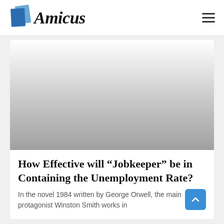Amicus
[Figure (photo): Hero image area with gradient from white to gray, representing a blurred or placeholder article image.]
How Effective will “Jobkeeper” be in Containing the Unemployment Rate?
In the novel 1984 written by George Orwell, the main protagonist Winston Smith works in